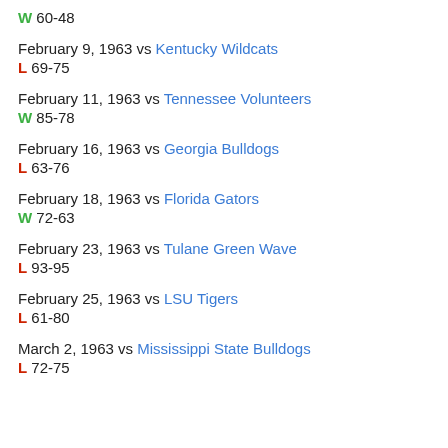W 60-48
February 9, 1963 vs Kentucky Wildcats
L 69-75
February 11, 1963 vs Tennessee Volunteers
W 85-78
February 16, 1963 vs Georgia Bulldogs
L 63-76
February 18, 1963 vs Florida Gators
W 72-63
February 23, 1963 vs Tulane Green Wave
L 93-95
February 25, 1963 vs LSU Tigers
L 61-80
March 2, 1963 vs Mississippi State Bulldogs
L 72-75